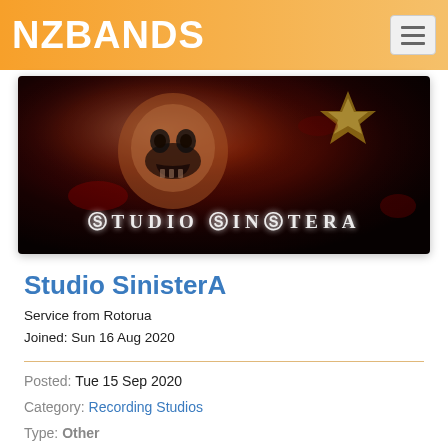NZBANDS
[Figure (photo): Dark banner image with skull artwork and text reading STUDIO SINISTERA]
Studio SinisterA
Service from Rotorua
Joined: Sun 16 Aug 2020
Posted: Tue 15 Sep 2020
Category: Recording Studios
Type: Other
Viewed: 1033 times